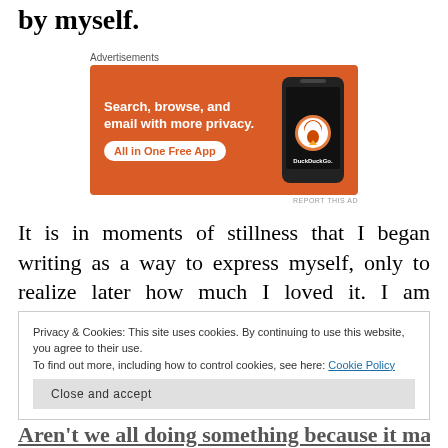by myself.
[Figure (other): DuckDuckGo advertisement — orange background with text 'Search, browse, and email with more privacy. All in One Free App' and a phone image showing DuckDuckGo app]
Advertisements
It is in moments of stillness that I began writing as a way to express myself, only to realize later how much I loved it. I am certainly not the best writer or even remotely fine in comparison to
Privacy & Cookies: This site uses cookies. By continuing to use this website, you agree to their use.
To find out more, including how to control cookies, see here: Cookie Policy
Aren't we all doing something because it makes